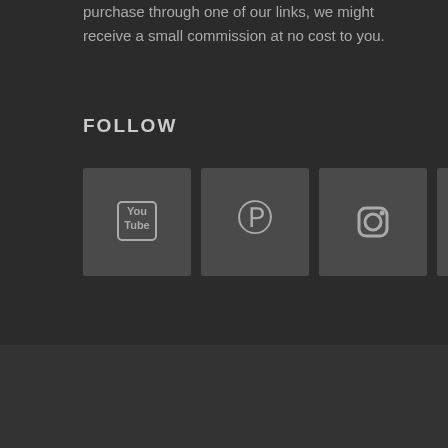purchase through one of our links, we might receive a small commission at no cost to you.
FOLLOW
[Figure (illustration): Four social media icon buttons: YouTube, Pinterest, Instagram, Facebook — displayed as dark gray square boxes with icons inside.]
Terms of Service   Privacy Policy
© 2022 JJ and The Bug • Built with GeneratePress